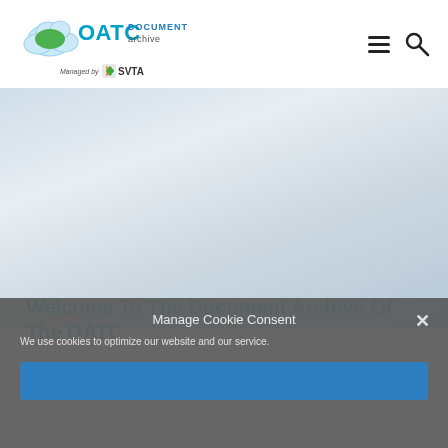[Figure (logo): OATC Document Archive logo with cloud icon and SVTA managed-by badge]
Welcome To The Document Archive Of The OATC
Manage Cookie Consent
We use cookies to optimize our website and our service.